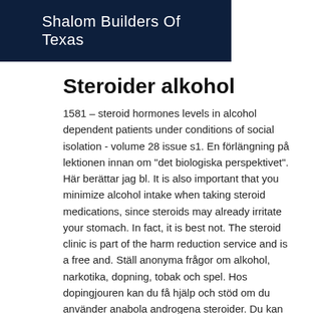Shalom Builders Of Texas
Steroider alkohol
1581 – steroid hormones levels in alcohol dependent patients under conditions of social isolation - volume 28 issue s1. En förlängning på lektionen innan om "det biologiska perspektivet". Här berättar jag bl. It is also important that you minimize alcohol intake when taking steroid medications, since steroids may already irritate your stomach. In fact, it is best not. The steroid clinic is part of the harm reduction service and is a free and. Ställ anonyma frågor om alkohol, narkotika, dopning, tobak och spel. Hos dopingjouren kan du få hjälp och stöd om du använder anabola androgena steroider. Du kan också kontakta dopingjouren om du är orolig för